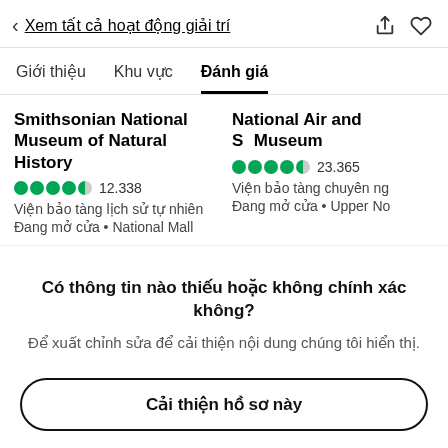< Xem tất cả hoạt động giải trí
Giới thiệu   Khu vực   Đánh giá
Smithsonian National Museum of Natural History
●●●●◐ 12.338
Viện bảo tàng lịch sử tự nhiên
Đang mở cửa • National Mall
National Air and Space Museum
●●●●◐ 23.365
Viện bảo tàng chuyên ngành
Đang mở cửa • Upper Northwest
Có thông tin nào thiếu hoặc không chính xác không?
Để xuất chỉnh sửa để cải thiện nội dung chúng tôi hiển thị.
Cải thiện hồ sơ này